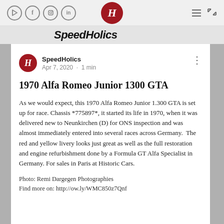[Figure (screenshot): SpeedHolics website navigation bar with social media icons (YouTube, Facebook, Instagram, LinkedIn), SpeedHolics H logo, hamburger menu, and expand icon]
SpeedHolics
SpeedHolics
Apr 7, 2020 · 1 min
1970 Alfa Romeo Junior 1300 GTA
As we would expect, this 1970 Alfa Romeo Junior 1.300 GTA is set up for race. Chassis *775897*, it started its life in 1970, when it was delivered new to Neunkirchen (D) for ONS inspection and was almost immediately entered into several races across Germany.  The red and yellow livery looks just great as well as the full restoration and engine refurbishment done by a Formula GT Alfa Specialist in Germany. For sales in Paris at Historic Cars.
Photo: Remi Dargegen Photographies
Find more on: http://ow.ly/WMC850z7Qnf